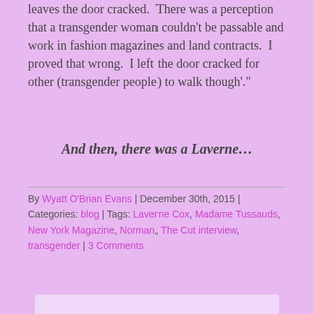leaves the door cracked.  There was a perception that a transgender woman couldn't be passable and work in fashion magazines and land contracts.  I proved that wrong.  I left the door cracked for other (transgender people) to walk though'."
And then, there was a Laverne…
By Wyatt O'Brian Evans | December 30th, 2015 | Categories: blog | Tags: Laverne Cox, Madame Tussauds, New York Magazine, Norman, The Cut interview, transgender | 3 Comments